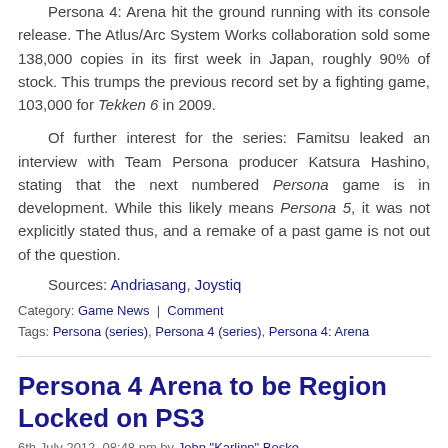Persona 4: Arena hit the ground running with its console release. The Atlus/Arc System Works collaboration sold some 138,000 copies in its first week in Japan, roughly 90% of stock. This trumps the previous record set by a fighting game, 103,000 for Tekken 6 in 2009.
Of further interest for the series: Famitsu leaked an interview with Team Persona producer Katsura Hashino, stating that the next numbered Persona game is in development. While this likely means Persona 5, it was not explicitly stated thus, and a remake of a past game is not out of the question.
Sources: Andriasang, Joystiq
Category: Game News | Comment
Tags: Persona (series), Persona 4 (series), Persona 4: Arena
Persona 4 Arena to be Region Locked on PS3
6th July 2012, 08:48 pm by John "Karlinn" Boske
Among the stranger things I've learned today is that Persona 4 Arena will be region locked: Japanese copies won't work on North American PS3s, and vice versa. An Atlus employee confirmed the news on the official forums, though there was no explanation available at this time. This is somewhat a moot point as Arena is being released internationally anyway, though it will be the first PS3 game ever to be region-locked. Puzzling, to say the least.